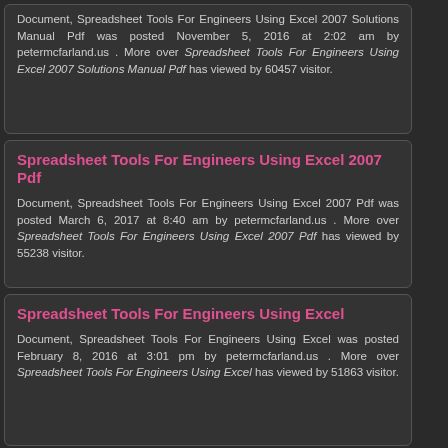Document, Spreadsheet Tools For Engineers Using Excel 2007 Solutions Manual Pdf was posted November 5, 2016 at 2:02 am by petermcfarland.us . More over Spreadsheet Tools For Engineers Using Excel 2007 Solutions Manual Pdf has viewed by 60457 visitor.
Spreadsheet Tools For Engineers Using Excel 2007 Pdf
Document, Spreadsheet Tools For Engineers Using Excel 2007 Pdf was posted March 6, 2017 at 8:40 am by petermcfarland.us . More over Spreadsheet Tools For Engineers Using Excel 2007 Pdf has viewed by 55238 visitor.
Spreadsheet Tools For Engineers Using Excel
Document, Spreadsheet Tools For Engineers Using Excel was posted February 8, 2016 at 3:01 pm by petermcfarland.us . More over Spreadsheet Tools For Engineers Using Excel has viewed by 51863 visitor.